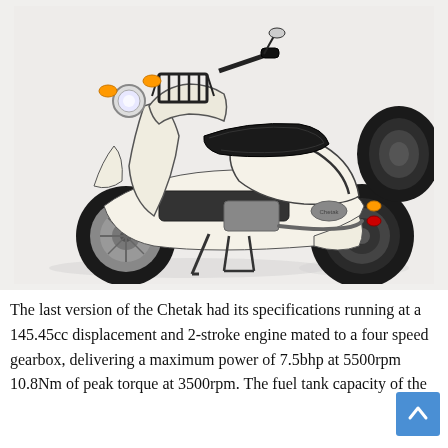[Figure (photo): A white vintage-style scooter (Bajaj Chetak) photographed against a white/light grey background, shown from a three-quarter front-left angle with a spare tire mounted on the rear. The scooter has black accents, a luggage rack on the front, a round headlight with orange turn signals, and a black seat.]
The last version of the Chetak had its specifications running at a 145.45cc displacement and 2-stroke engine mated to a four speed gearbox, delivering a maximum power of 7.5bhp at 5500rpm 10.8Nm of peak torque at 3500rpm. The fuel tank capacity of the